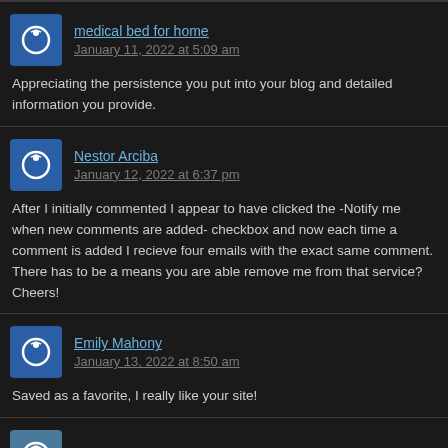medical bed for home
January 11, 2022 at 5:09 am
Appreciating the persistence you put into your blog and detailed information you provide.
Nestor Arciba
January 12, 2022 at 6:37 pm
After I initially commented I appear to have clicked the -Notify me when new comments are added- checkbox and now each time a comment is added I recieve four emails with the exact same comment. There has to be a means you are able remove me from that service? Cheers!
Emily Mahony
January 13, 2022 at 8:50 am
Saved as a favorite, I really like your site!
Anthony Montello